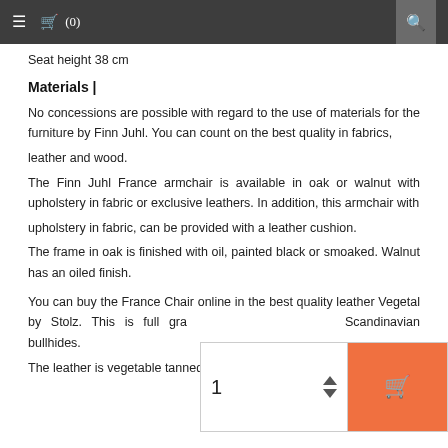≡  🛒 (0)   🔍
Seat height 38 cm
Materials |
No concessions are possible with regard to the use of materials for the furniture by Finn Juhl. You can count on the best quality in fabrics,
leather and wood.
The Finn Juhl France armchair is available in oak or walnut with upholstery in fabric or exclusive leathers. In addition, this armchair with
upholstery in fabric, can be provided with a leather cushion.
The frame in oak is finished with oil, painted black or smoaked. Walnut has an oiled finish.
You can buy the France Chair online in the best quality leather Vegetal by Stolz. This is full grain leather from selected Scandinavian bullhides.
The leather is vegetable tanned accordig to ecological standards.